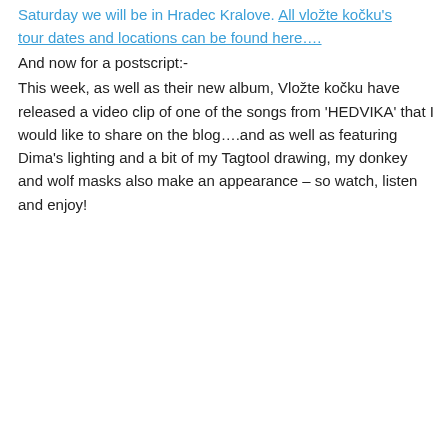Saturday we will be in Hradec Kralove. All vlozte kocku's tour dates and locations can be found here….
And now for a postscript:-
This week, as well as their new album, Vložte kočku have released a video clip of one of the songs from 'HEDVIKA' that I would like to share on the blog….and as well as featuring Dima's lighting and a bit of my Tagtool drawing, my donkey and wolf masks also make an appearance – so watch, listen and enjoy!